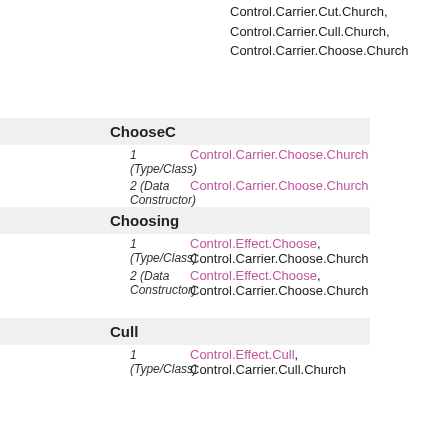Control.Carrier.Cut.Church, Control.Carrier.Cull.Church, Control.Carrier.Choose.Church
ChooseC
1 (Type/Class) Control.Carrier.Choose.Church
2 (Data Constructor) Control.Carrier.Choose.Church
Choosing
1 (Type/Class) Control.Effect.Choose, Control.Carrier.Choose.Church
2 (Data Constructor) Control.Effect.Choose, Control.Carrier.Choose.Church
Cull
1 (Type/Class) Control.Effect.Cull, Control.Carrier.Cull.Church
2 (Data Constructor) Control.Effect.Cull, Control.Carrier.Cull.Church
cull
Control.Effect.Cull, Control.Carrier.Cull.Church
CullC
1 (Type/Class) Control.Carrier.Cull.Church
2 (Data Constructor) Control.Carrier.Cull.Church